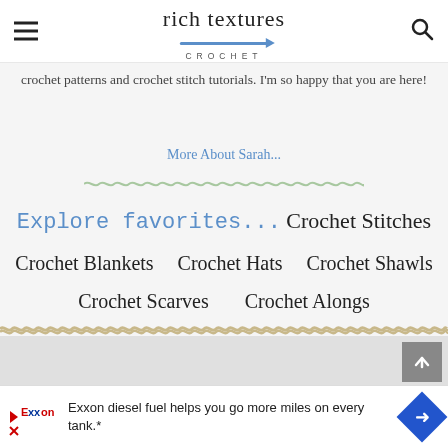rich textures CROCHET
crochet patterns and crochet stitch tutorials. I'm so happy that you are here!
More About Sarah...
Explore favorites... Crochet Stitches
Crochet Blankets
Crochet Hats
Crochet Shawls
Crochet Scarves
Crochet Alongs
Exxon diesel fuel helps you go more miles on every tank.*